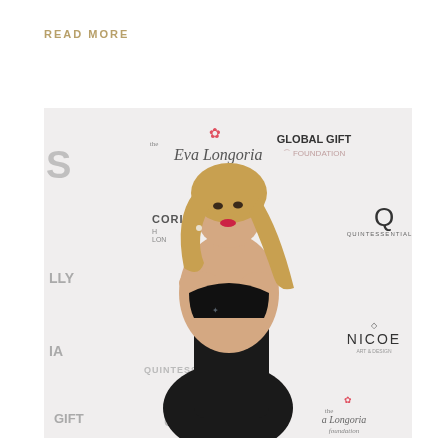READ MORE
[Figure (photo): A blonde woman in a black strapless dress posing at a red carpet event with sponsor logos on the step-and-repeat backdrop, including the Eva Longoria Foundation, Global Gift Foundation, Corinthia Hotel London, Quintessentially, and NICOE Art & Design.]